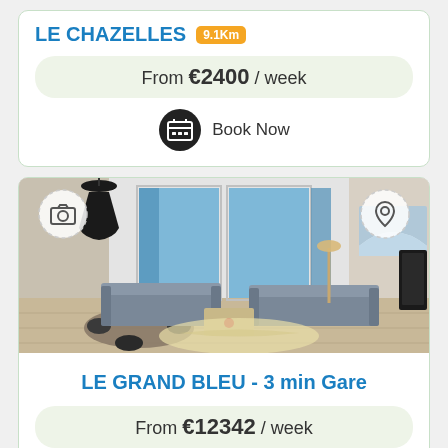LE CHAZELLES 9.1Km
From €2400 / week
Book Now
[Figure (photo): Interior photo of a modern apartment living room with blue curtains, grey sofas, pendant lights and a rug]
LE GRAND BLEU - 3 min Gare
From €12342 / week
Book Now